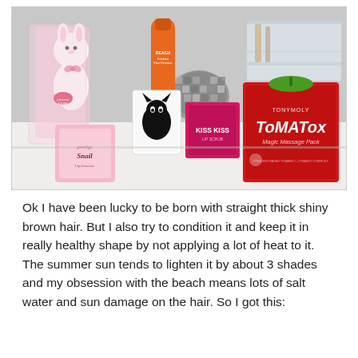[Figure (photo): A photograph showing a collection of beauty/skincare products arranged on a white surface. Products include Tony Moly Tomatox Magic Massage Pack (red box with green leaf), Kiss Kiss lip scrub (pink box), Prestige Snail lip product (pink box), a black and white cat-themed box, a bunny-shaped hand cream figure in pink packaging, an orange tube/bottle, a decorative mosaic candle holder, and a clear acrylic storage organizer in the background.]
Ok I have been lucky to be born with straight thick shiny brown hair. But I also try to condition it and keep it in really healthy shape by not applying a lot of heat to it. The summer sun tends to lighten it by about 3 shades and my obsession with the beach means lots of salt water and sun damage on the hair. So I got this: